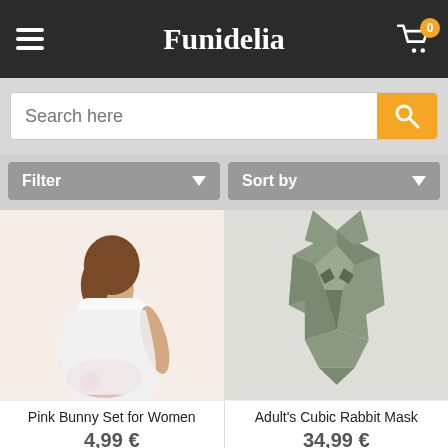Funidelia
Search here
Filter
Sort by
[Figure (photo): Woman in white bunny costume (Pink Bunny Set for Women product photo)]
[Figure (photo): Grey geometric low-poly rabbit/lion mask (Adult's Cubic Rabbit Mask product photo)]
Pink Bunny Set for Women
Adult's Cubic Rabbit Mask
4,99 €
34,99 €
We use our own and third party cookies in order to offer you a better service. You accept that by staying at our site. More info